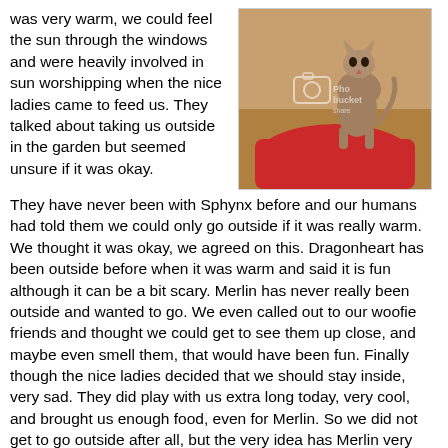was very warm, we could feel the sun through the windows and were heavily involved in sun worshipping when the nice ladies came to feed us. They talked about taking us outside in the garden but seemed unsure if it was okay. They have never been with Sphynx before and our humans had told them we could only go outside if it was really warm. We thought it was okay, we agreed on this. Dragonheart has been outside before when it was warm and said it is fun although it can be a bit scary. Merlin has never really been outside and wanted to go. We even called out to our woofie friends and thought we could get to see them up close, and maybe even smell them, that would have been fun. Finally though the nice ladies decided that we should stay inside, very sad. They did play with us extra long today, very cool, and brought us enough food, even for Merlin. So we did not get to go outside after all, but the very idea has Merlin very excited and looking forward to the day when he will finally play outside for the first time.
[Figure (photo): A Sphynx cat sitting on a red piece of furniture or cushion, photographed from below/side angle. The image has a Photobucket watermark overlay.]